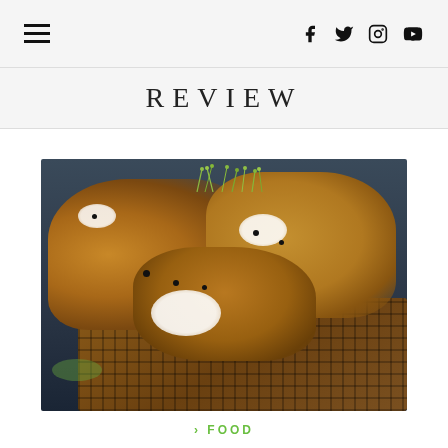hamburger menu icon, social icons: f, Twitter, Instagram, YouTube
REVIEW
[Figure (photo): Close-up photograph of a fried chicken and waffles dish on a dark plate, topped with white cream/sauce, black caviar pearls, and green sprouts/microgreens]
FOOD